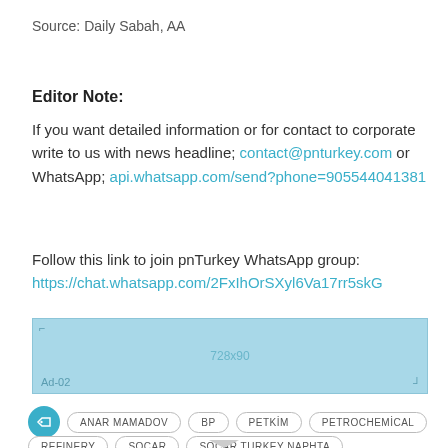Source: Daily Sabah, AA
Editor Note:
If you want detailed information or for contact to corporate write to us with news headline; contact@pnturkey.com or WhatsApp; api.whatsapp.com/send?phone=905544041381
Follow this link to join pnTurkey WhatsApp group: https://chat.whatsapp.com/2FxIhOrSXyl6Va17rr5skG
[Figure (other): Light blue advertisement placeholder box labeled 728x90 Ad-02]
ANAR MAMADOV BP PETKİM PETROCHEMİCAL REFINERY SOCAR SOCAR TURKEY NAPHTA